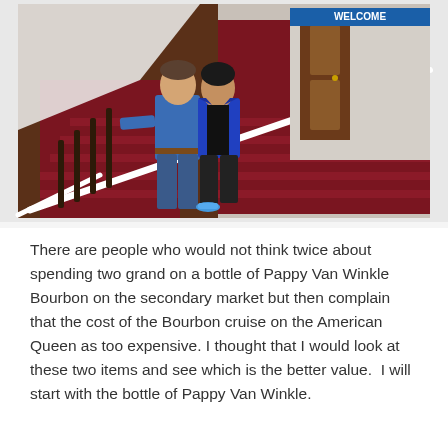[Figure (photo): Two people standing on a grand staircase with red carpet and white railings. A man in a blue plaid shirt and jeans and a woman in a blue blazer with black pants pose on the stairs. A wooden door and a 'Welcome' banner are visible in the background.]
There are people who would not think twice about spending two grand on a bottle of Pappy Van Winkle Bourbon on the secondary market but then complain that the cost of the Bourbon cruise on the American Queen as too expensive. I thought that I would look at these two items and see which is the better value.  I will start with the bottle of Pappy Van Winkle.